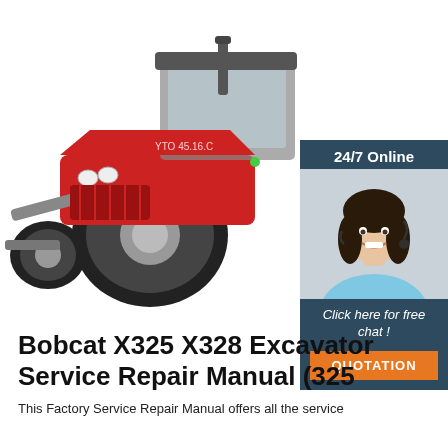[Figure (photo): A red agricultural tractor with a cab, large rear tires, and front loader attachment, photographed on a white background]
[Figure (infographic): 24/7 Online chat support box with a photo of a smiling woman with headset, 'Click here for free chat!' text, and an orange 'QUOTATION' button]
Bobcat X325 X328 Excavator Service Repair Manual (325
This Factory Service Repair Manual offers all the service